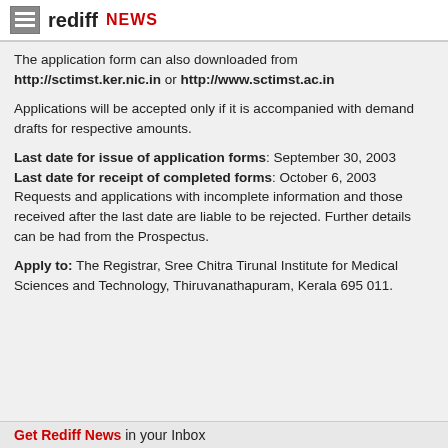rediff NEWS
The application form can also downloaded from http://sctimst.ker.nic.in or http://www.sctimst.ac.in
Applications will be accepted only if it is accompanied with demand drafts for respective amounts.
Last date for issue of application forms: September 30, 2003
Last date for receipt of completed forms: October 6, 2003
Requests and applications with incomplete information and those received after the last date are liable to be rejected. Further details can be had from the Prospectus.
Apply to: The Registrar, Sree Chitra Tirunal Institute for Medical Sciences and Technology, Thiruvanathapuram, Kerala 695 011.
Get Rediff News in your Inbox